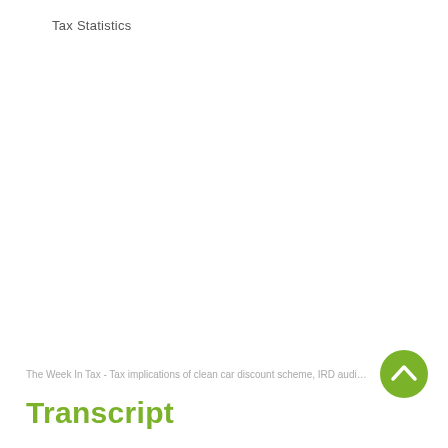Tax Statistics
The Week In Tax - Tax implications of clean car discount scheme, IRD audit activity,…
Transcript